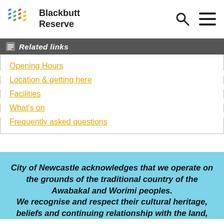Blackbutt Reserve
Related links
Opening Hours
Location & getting here
Facilities
What's on
Frequently asked questions
City of Newcastle acknowledges that we operate on the grounds of the traditional country of the Awabakal and Worimi peoples. We recognise and respect their cultural heritage, beliefs and continuing relationship with the land,